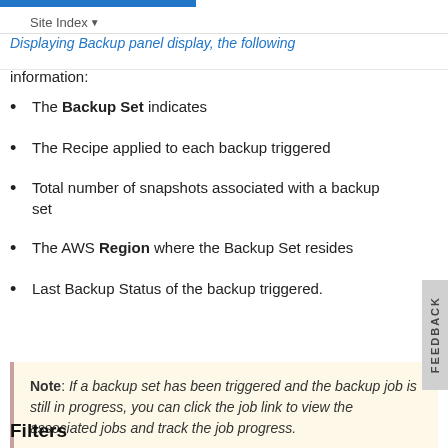Site Index
information:
The Backup Set indicates
The Recipe applied to each backup triggered
Total number of snapshots associated with a backup set
The AWS Region where the Backup Set resides
Last Backup Status of the backup triggered.
Note: If a backup set has been triggered and the backup job is still in progress, you can click the job link to view the associated jobs and track the job progress.
Filters